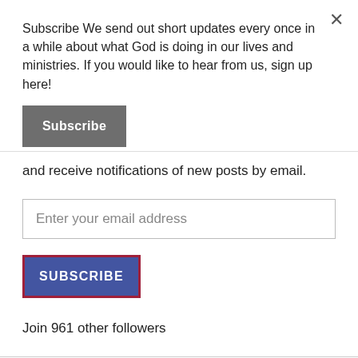Subscribe We send out short updates every once in a while about what God is doing in our lives and ministries. If you would like to hear from us, sign up here!
[Figure (other): Gray Subscribe button]
and receive notifications of new posts by email.
[Figure (other): Email input field with placeholder text 'Enter your email address']
[Figure (other): Blue SUBSCRIBE button with red border]
Join 961 other followers